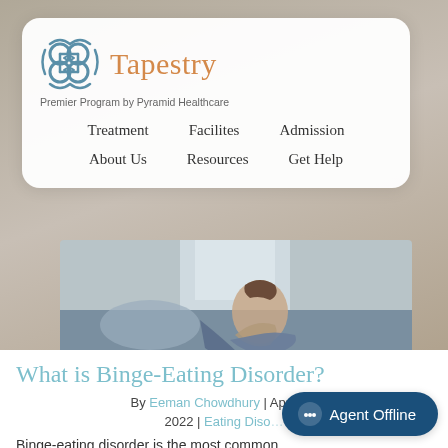[Figure (logo): Tapestry logo with Celtic knot icon and orange text, tagline: Premier Program by Pyramid Healthcare]
Treatment | Facilites | Admission | About Us | Resources | Get Help
[Figure (photo): Person sitting on bed in distress, hugging knees]
What is Binge-Eating Disorder?
By Eeman Chowdhury | April 26, 2022 | Eating Diso...
Binge-eating disorder is the most common